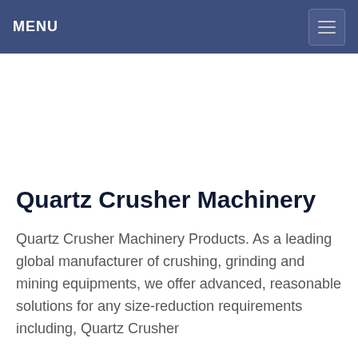MENU
Quartz Crusher Machinery
Quartz Crusher Machinery Products. As a leading global manufacturer of crushing, grinding and mining equipments, we offer advanced, reasonable solutions for any size-reduction requirements including, Quartz Crusher